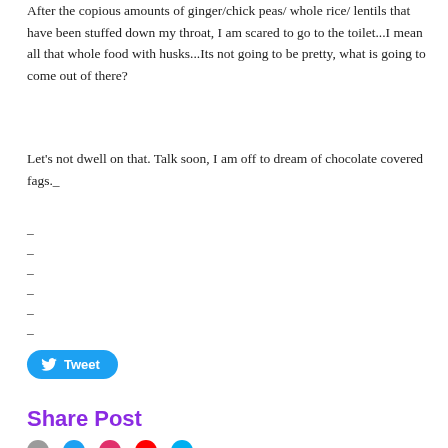After the copious amounts of ginger/chick peas/ whole rice/ lentils that have been stuffed down my throat, I am scared to go to the toilet...I mean all that whole food with husks...Its not going to be pretty, what is going to come out of there?
Let's not dwell on that. Talk soon, I am off to dream of chocolate covered fags._
–
–
–
–
–
–
[Figure (other): Tweet button with Twitter bird icon]
Share Post
[Figure (other): Social media sharing icons row]